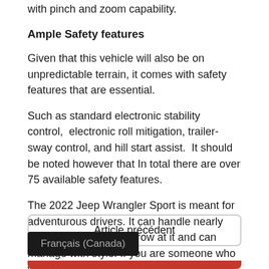with pinch and zoom capability.
Ample Safety features
Given that this vehicle will also be on unpredictable terrain, it comes with safety features that are essential.
Such as standard electronic stability control,  electronic roll mitigation, trailer-sway control, and hill start assist.  It should be noted however that In total there are over 75 available safety features.
The 2022 Jeep Wrangler Sport is meant for adventurous drivers. It can handle nearly anything the trail will throw at it and can manage with style. If you are someone who wants to go down the roads less travelled, this vehicle is certainly for you.
Article précédent
Français (Canada)